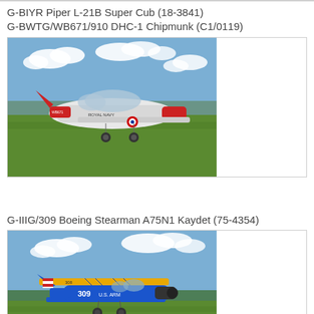G-BIYR Piper L-21B Super Cub (18-3841)
G-BWTG/WB671/910 DHC-1 Chipmunk (C1/0119)
[Figure (photo): DHC-1 Chipmunk aircraft painted in Royal Navy livery with roundel markings, parked on grass airfield]
G-IIIG/309 Boeing Stearman A75N1 Kaydet (75-4354)
[Figure (photo): Boeing Stearman A75N1 Kaydet biplane painted blue and yellow with U.S. Army markings and number 309, parked on grass]